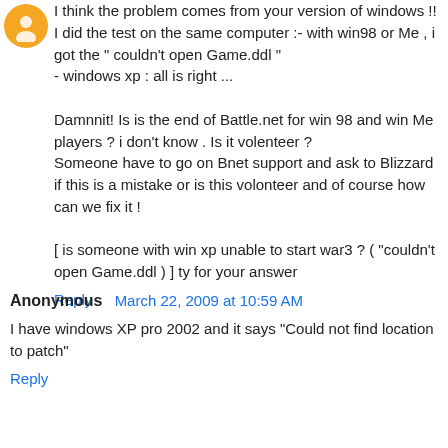[Figure (illustration): Orange circular avatar icon with a user/person silhouette]
I think the problem comes from your version of windows !!
I did the test on the same computer :- with win98 or Me , i got the " couldn't open Game.ddl "
- windows xp : all is right ...

Damnnit! Is is the end of Battle.net for win 98 and win Me players ? i don't know . Is it volenteer ?
Someone have to go on Bnet support and ask to Blizzard if this is a mistake or is this volonteer and of course how can we fix it !

[ is someone with win xp unable to start war3 ? ( "couldn't open Game.ddl ) ] ty for your answer
Reply
Anonymous  March 22, 2009 at 10:59 AM
I have windows XP pro 2002 and it says "Could not find location to patch"
Reply